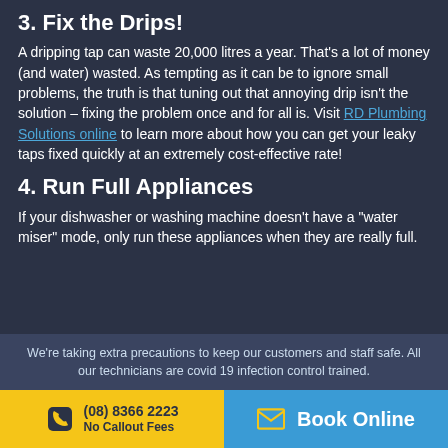3. Fix the Drips!
A dripping tap can waste 20,000 litres a year. That's a lot of money (and water) wasted. As tempting as it can be to ignore small problems, the truth is that tuning out that annoying drip isn't the solution – fixing the problem once and for all is. Visit RD Plumbing Solutions online to learn more about how you can get your leaky taps fixed quickly at an extremely cost-effective rate!
4. Run Full Appliances
If your dishwasher or washing machine doesn't have a "water miser" mode, only run these appliances when they are really full.
We're taking extra precautions to keep our customers and staff safe. All our technicians are covid 19 infection control trained.
(08) 8366 2223 No Callout Fees
Book Online